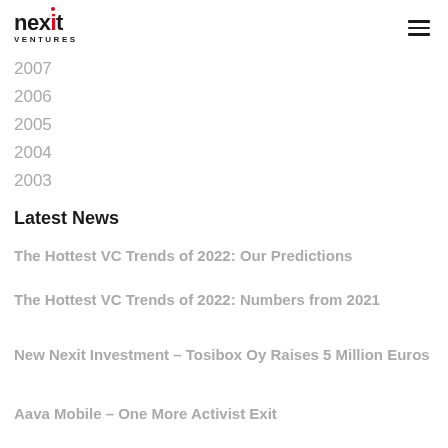nexit VENTURES
2006
2005
2004
2003
Latest News
The Hottest VC Trends of 2022: Our Predictions
The Hottest VC Trends of 2022: Numbers from 2021
New Nexit Investment – Tosibox Oy Raises 5 Million Euros
Aava Mobile – One More Activist Exit
The ICO Is Dead. Long Live Blockchain! Part 2